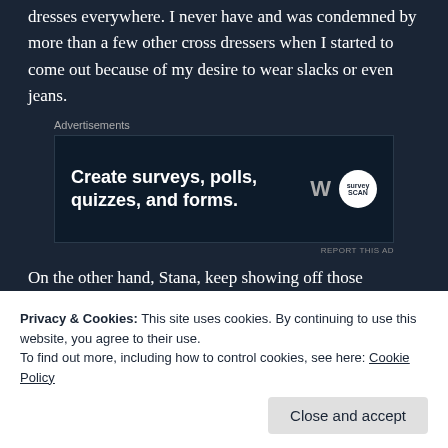dresses everywhere. I never have and was condemned by more than a few other cross dressers when I started to come out because of my desire to wear slacks or even jeans.
[Figure (other): Advertisement banner: dark navy background with text 'Create surveys, polls, quizzes, and forms.' with WordPress and Survey Scan logos]
On the other hand, Stana, keep showing off those amazing legs! You have them girl, flaunt them!
Finally, if the truth be known, this post was supposed to
Privacy & Cookies: This site uses cookies. By continuing to use this website, you agree to their use. To find out more, including how to control cookies, see here: Cookie Policy
Close and accept
and forms.